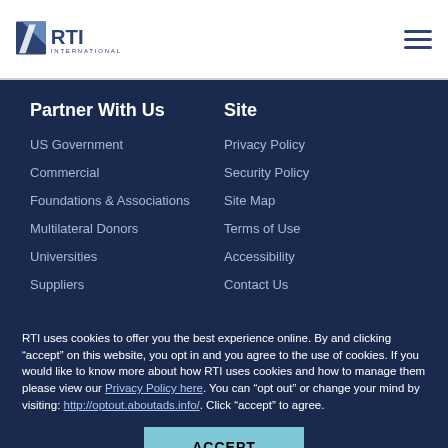RTI International — navigation header with logo and hamburger menu
Partner With Us
US Government
Commercial
Foundations & Associations
Multilateral Donors
Universities
Suppliers
Site
Privacy Policy
Security Policy
Site Map
Terms of Use
Accessibility
Contact Us
RTI uses cookies to offer you the best experience online. By and clicking “accept” on this website, you opt in and you agree to the use of cookies. If you would like to know more about how RTI uses cookies and how to manage them please view our Privacy Policy here. You can “opt out” or change your mind by visiting: http://optout.aboutads.info/. Click “accept” to agree.
ACCEPT